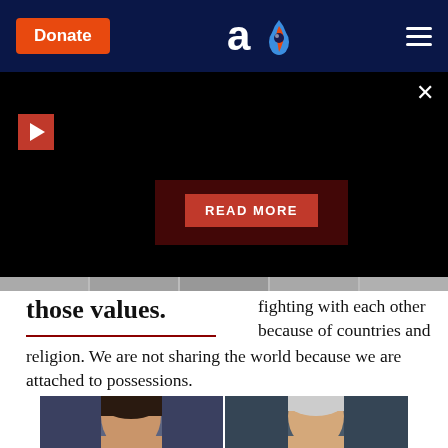Donate | aish.com logo | hamburger menu
[Figure (screenshot): Black video player area with red play button icon top left, READ MORE red button center]
those values.
fighting with each other because of countries and religion. We are not sharing the world because we are attached to possessions.
[Figure (photo): Two portrait photos side by side: Kamala Harris on the left and Joe Biden on the right]